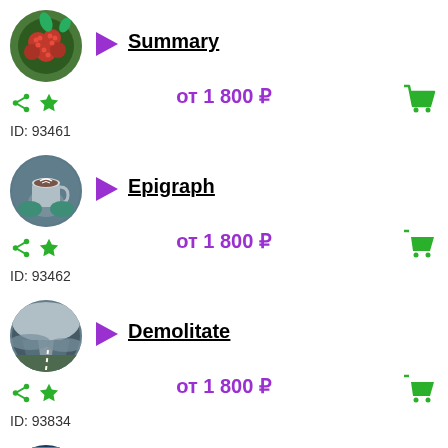[Figure (photo): Round thumbnail of raspberries]
Summary
от 1 800 ₽
ID: 93461
[Figure (photo): Round thumbnail of coffee cup]
Epigraph
от 1 800 ₽
ID: 93462
[Figure (photo): Round thumbnail of road landscape]
Demolitate
от 1 800 ₽
ID: 93834
[Figure (photo): Round thumbnail of sunset landscape]
Exposition